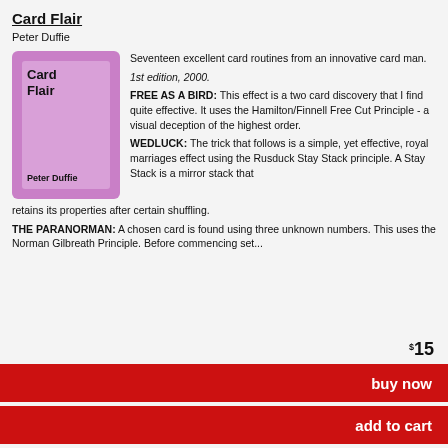Card Flair
Peter Duffie
[Figure (illustration): Book cover for Card Flair by Peter Duffie, purple/mauve background with book title and author name]
Seventeen excellent card routines from an innovative card man.

1st edition, 2000.

FREE AS A BIRD: This effect is a two card discovery that I find quite effective. It uses the Hamilton/Finnell Free Cut Principle - a visual deception of the highest order.

WEDLUCK: The trick that follows is a simple, yet effective, royal marriages effect using the Rusduck Stay Stack principle. A Stay Stack is a mirror stack that retains its properties after certain shuffling.

THE PARANORMAN: A chosen card is found using three unknown numbers. This uses the Norman Gilbreath Principle. Before commencing set...
$15
buy now
add to cart